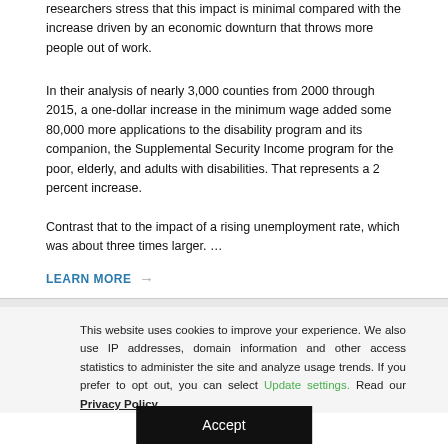researchers stress that this impact is minimal compared with the increase driven by an economic downturn that throws more people out of work.
In their analysis of nearly 3,000 counties from 2000 through 2015, a one-dollar increase in the minimum wage added some 80,000 more applications to the disability program and its companion, the Supplemental Security Income program for the poor, elderly, and adults with disabilities. That represents a 2 percent increase.
Contrast that to the impact of a rising unemployment rate, which was about three times larger. ...
LEARN MORE →
This website uses cookies to improve your experience. We also use IP addresses, domain information and other access statistics to administer the site and analyze usage trends. If you prefer to opt out, you can select Update settings. Read our Privacy Policy.
Accept